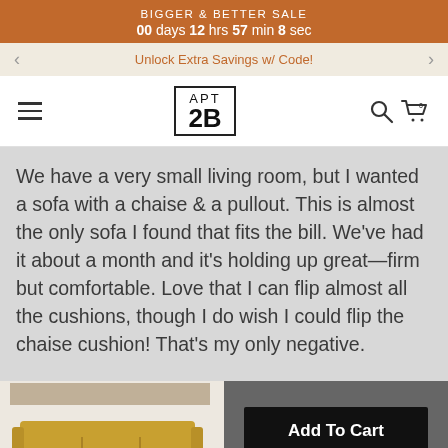BIGGER & BETTER SALE
00 days 12 hrs 57 min 8 sec
Unlock Extra Savings w/ Code!
[Figure (logo): APT 2B logo in bordered box with hamburger menu, search icon, and cart icon]
We have a very small living room, but I wanted a sofa with a chaise & a pullout. This is almost the only sofa I found that fits the bill. We've had it about a month and it's holding up great—firm but comfortable. Love that I can flip almost all the cushions, though I do wish I could flip the chaise cushion! That's my only negative.
[Figure (photo): Yellow/mustard sofa product thumbnail image]
Add To Cart